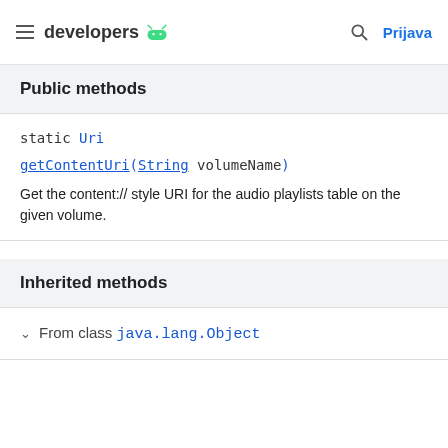developers  Prijava
Public methods
static Uri
getContentUri(String volumeName)
Get the content:// style URI for the audio playlists table on the given volume.
Inherited methods
From class java.lang.Object